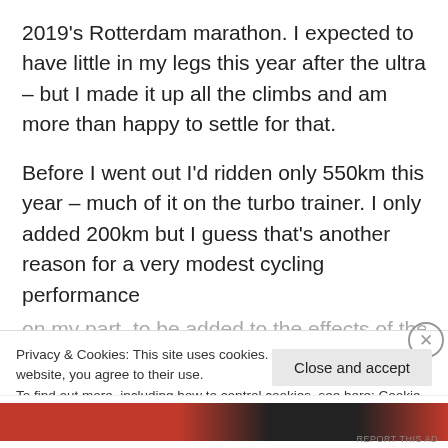2019's Rotterdam marathon. I expected to have little in my legs this year after the ultra – but I made it up all the climbs and am more than happy to settle for that.
Before I went out I'd ridden only 550km this year – much of it on the turbo trainer. I only added 200km but I guess that's another reason for a very modest cycling performance on my part, to be added to the effects of the
Privacy & Cookies: This site uses cookies. By continuing to use this website, you agree to their use.
To find out more, including how to control cookies, see here: Cookie Policy
Close and accept